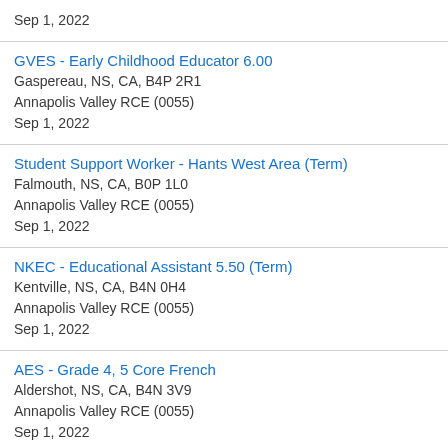Sep 1, 2022
GVES - Early Childhood Educator 6.00
Gaspereau, NS, CA, B4P 2R1
Annapolis Valley RCE (0055)
Sep 1, 2022
Student Support Worker - Hants West Area (Term)
Falmouth, NS, CA, B0P 1L0
Annapolis Valley RCE (0055)
Sep 1, 2022
NKEC - Educational Assistant 5.50 (Term)
Kentville, NS, CA, B4N 0H4
Annapolis Valley RCE (0055)
Sep 1, 2022
AES - Grade 4, 5 Core French
Aldershot, NS, CA, B4N 3V9
Annapolis Valley RCE (0055)
Sep 1, 2022